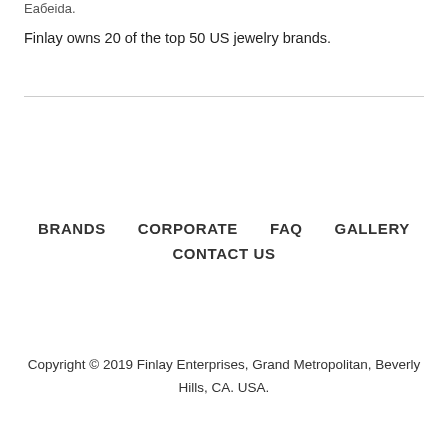Eaбeida.
Finlay owns 20 of the top 50 US jewelry brands.
BRANDS    CORPORATE    FAQ    GALLERY    CONTACT US
Copyright © 2019 Finlay Enterprises, Grand Metropolitan, Beverly Hills, CA. USA.